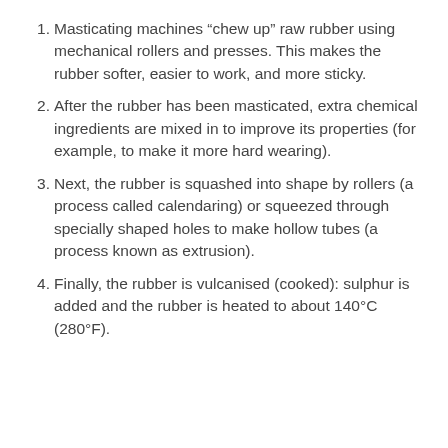Masticating machines “chew up” raw rubber using mechanical rollers and presses. This makes the rubber softer, easier to work, and more sticky.
After the rubber has been masticated, extra chemical ingredients are mixed in to improve its properties (for example, to make it more hard wearing).
Next, the rubber is squashed into shape by rollers (a process called calendaring) or squeezed through specially shaped holes to make hollow tubes (a process known as extrusion).
Finally, the rubber is vulcanised (cooked): sulphur is added and the rubber is heated to about 140°C (280°F).